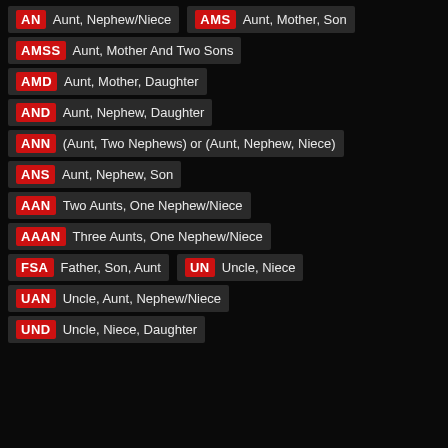AN Aunt, Nephew/Niece
AMS Aunt, Mother, Son
AMSS Aunt, Mother And Two Sons
AMD Aunt, Mother, Daughter
AND Aunt, Nephew, Daughter
ANN (Aunt, Two Nephews) or (Aunt, Nephew, Niece)
ANS Aunt, Nephew, Son
AAN Two Aunts, One Nephew/Niece
AAAN Three Aunts, One Nephew/Niece
FSA Father, Son, Aunt
UN Uncle, Niece
UAN Uncle, Aunt, Nephew/Niece
UND Uncle, Niece, Daughter